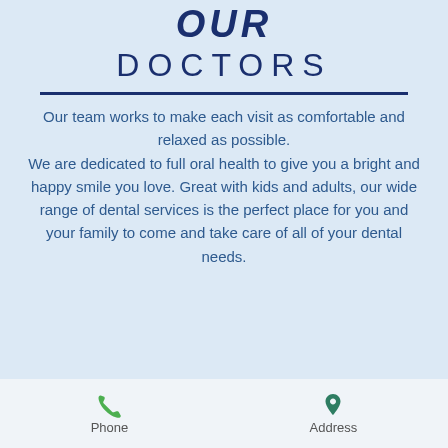OUR DOCTORS
Our team works to make each visit as comfortable and relaxed as possible. We are dedicated to full oral health to give you a bright and happy smile you love. Great with kids and adults, our wide range of dental services is the perfect place for you and your family to come and take care of all of your dental needs.
Phone    Address